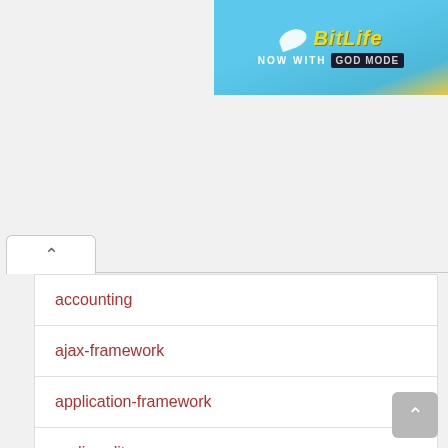[Figure (screenshot): BitLife advertisement banner with 'NOW WITH GOD MODE' text on blue/yellow background]
accounting
ajax-framework
application-framework
audio-editor
automation
big-data
blog-engine
browser